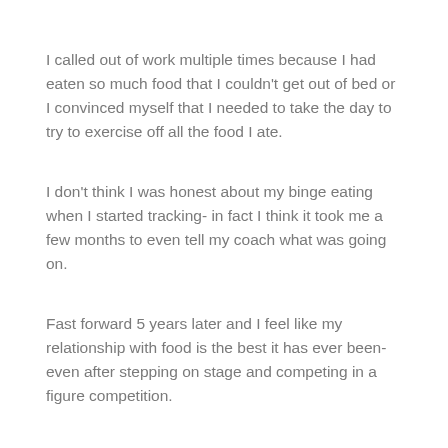I called out of work multiple times because I had eaten so much food that I couldn't get out of bed or I convinced myself that I needed to take the day to try to exercise off all the food I ate.
I don't think I was honest about my binge eating when I started tracking- in fact I think it took me a few months to even tell my coach what was going on.
Fast forward 5 years later and I feel like my relationship with food is the best it has ever been- even after stepping on stage and competing in a figure competition.